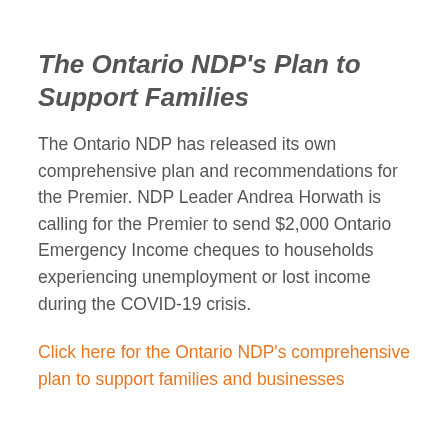The Ontario NDP's Plan to Support Families
The Ontario NDP has released its own comprehensive plan and recommendations for the Premier. NDP Leader Andrea Horwath is calling for the Premier to send $2,000 Ontario Emergency Income cheques to households experiencing unemployment or lost income during the COVID-19 crisis.
Click here for the Ontario NDP's comprehensive plan to support families and businesses